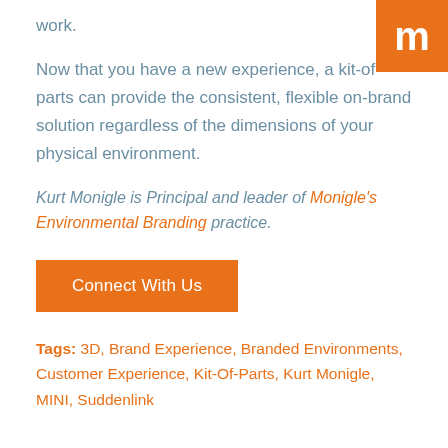work.
[Figure (logo): Orange square logo with white letter 'm' in the top-right corner]
Now that you have a new experience, a kit-of-parts can provide the consistent, flexible on-brand solution regardless of the dimensions of your physical environment.
Kurt Monigle is Principal and leader of Monigle's Environmental Branding practice.
Connect With Us
Tags: 3D, Brand Experience, Branded Environments, Customer Experience, Kit-Of-Parts, Kurt Monigle, MINI, Suddenlink